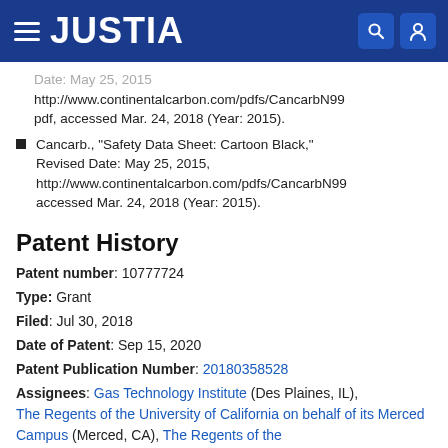JUSTIA
http://www.continentalcarbon.com/pdfs/CancarbN99... pdf, accessed Mar. 24, 2018 (Year: 2015).
Cancarb., "Safety Data Sheet: Cartoon Black," Revised Date: May 25, 2015, http://www.continentalcarbon.com/pdfs/CancarbN99... accessed Mar. 24, 2018 (Year: 2015).
Patent History
Patent number: 10777724
Type: Grant
Filed: Jul 30, 2018
Date of Patent: Sep 15, 2020
Patent Publication Number: 20180358528
Assignees: Gas Technology Institute (Des Plaines, IL), The Regents of the University of California on behalf of its Merced Campus (Merced, CA), The Regents of the University of California on behalf of its Berkeley Campus